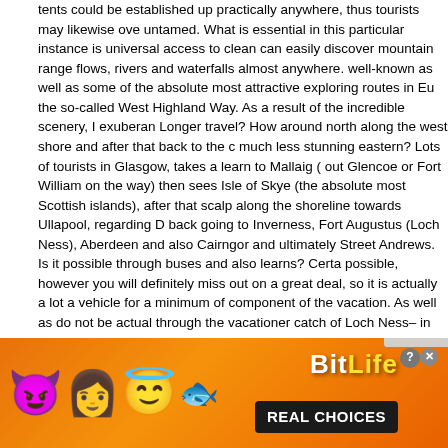tents could be established up practically anywhere, thus tourists may likewise ove untamed. What is essential in this particular instance is universal access to clean can easily discover mountain range flows, rivers and waterfalls almost anywhere. well-known as well as some of the absolute most attractive exploring routes in Eu the so-called West Highland Way. As a result of the incredible scenery, I exuberan Longer travel? How around north along the west shore and after that back to the c much less stunning eastern? Lots of tourists in Glasgow, takes a learn to Mallaig ( out Glencoe or Fort William on the way) then sees Isle of Skye (the absolute most Scottish islands), after that scalp along the shoreline towards Ullapool, regarding D back going to Inverness, Fort Augustus (Loch Ness), Aberdeen and also Cairngor and ultimately Street Andrews. Is it possible through buses and also learns? Certa possible, however you will definitely miss out on a great deal, so it is actually a lot a vehicle for a minimum of component of the vacation. As well as do not be actual through the vacationer catch of Loch Ness– in simple fact, there are actually lots o gorgeous locations throughout Scotland country Scotland, scottish Scotland, appli conservative Scotland, relevant information Scotland, scotland Scotland, us Scot Scotland, child Scotland, cult Scotland, map Scotland, iona Scotland, food selectio Scotland, records Scotland, record Scotland, auto Scotland, ship Scotland, uk Sc Scotland, celtic Scotland, glasgow Scotland, shetland Scotland, lifestyle Scotland, Scotland, headlines Scotland, education Scotland, little bit Scotland, navigating Sc Scotland, covid Scotland, sport Scotland, access Scotland, online videos Scotlan Scotland, community Scotland, golf Scotland, scots Scotland, meals Scotland, wh budget plan Scotland, visitscotland Scotland, gallery Scotland, e-newsletter Scot Scotland, hell Scotland, roadway Scotland, distilleries Scotland, street andrews Sc beverage Scotland, see scotland Scotland, europe Scotland Scotland, po experience Scotland, wahles Scotland, dundee Scotland, steering Scotland, sport transport al opportuniti conclusio nlight was ac while in S nds were
[Figure (screenshot): Advertisement overlay for BitLife game app with orange gradient background, emoji characters (devil, woman, angel, sperm), BitLife logo in white and yellow, question mark circle, 'REAL CHOICES' text in black box, and 'Close X' button]